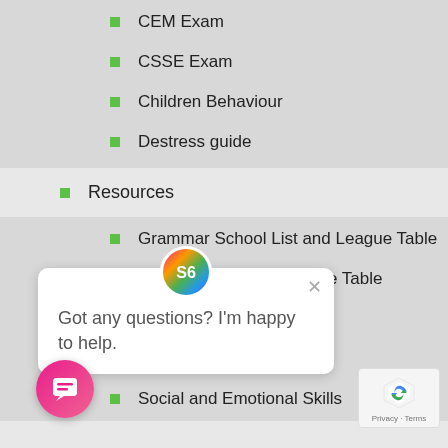CEM Exam
CSSE Exam
Children Behaviour
Destress guide
Resources
Grammar School List and League Table
Secondary School League Table
nissions
SEN System
Social and Emotional Skills
Got any questions? I'm happy to help.